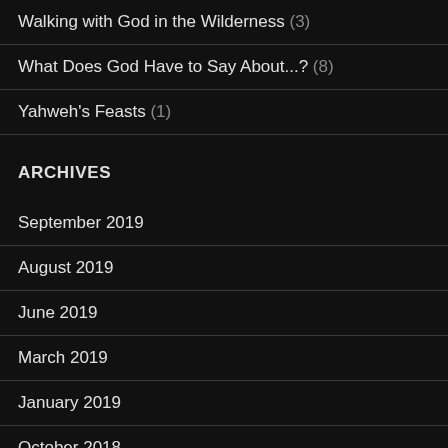Walking with God in the Wilderness (3)
What Does God Have to Say About...? (8)
Yahweh's Feasts (1)
ARCHIVES
September 2019
August 2019
June 2019
March 2019
January 2019
October 2018
August 2018